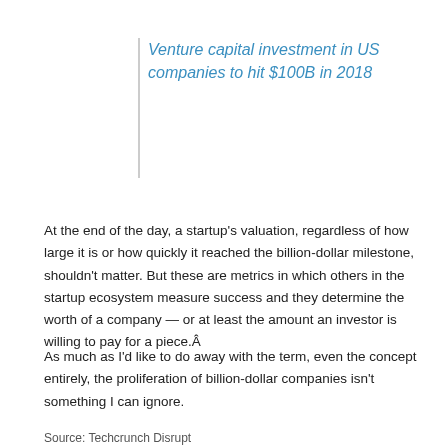Venture capital investment in US companies to hit $100B in 2018
At the end of the day, a startup's valuation, regardless of how large it is or how quickly it reached the billion-dollar milestone, shouldn't matter. But these are metrics in which others in the startup ecosystem measure success and they determine the worth of a company — or at least the amount an investor is willing to pay for a piece.Â
As much as I'd like to do away with the term, even the concept entirely, the proliferation of billion-dollar companies isn't something I can ignore.
Source: Techcrunch Disrupt